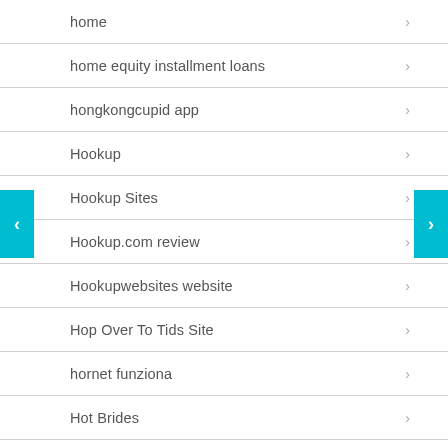home
home equity installment loans
hongkongcupid app
Hookup
Hookup Sites
Hookup.com review
Hookupwebsites website
Hop Over To Tids Site
hornet funziona
Hot Brides
HOT OR NOT hookup